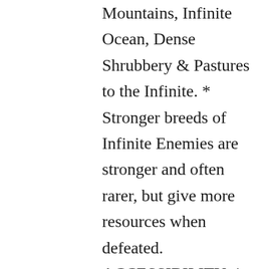Mountains, Infinite Ocean, Dense Shrubbery & Pastures to the Infinite. * Stronger breeds of Infinite Enemies are stronger and often rarer, but give more resources when defeated. ACCESSIBILITY: * Added full VoiceOver accessibility to The Swordy Book page, All new Enemies and All new Maps * Added VoiceOver Heading sections to Actions Homepage to navigate different sections of content. * Made it more obvious with sounds and haptic feedback, when a player is actually knocked unconscious. * Split Fight page into different VoiceOver sections differentiated by Headings. GAME BALANCE: * 1 in 5 chance of enemy attacking each time you clear a gather area. Reduced from enemy attacking every time. * Dragons in The Beyond now give out 3 random Dragon